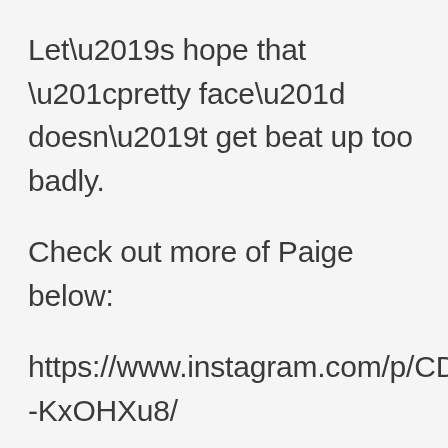Let’s hope that “pretty face” doesn’t get beat up too badly.
Check out more of Paige below:
https://www.instagram.com/p/CDJ-KxOHXu8/
https://www.instagram.com/p/CC6e-huH_g1/